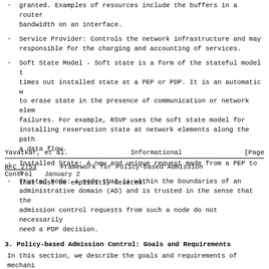granted. Examples of resources include the buffers in a router and bandwidth on an interface.
Service Provider: Controls the network infrastructure and may be responsible for the charging and accounting of services.
Soft State Model - Soft state is a form of the stateful model that times out installed state at a PEP or PDP. It is an automatic way to erase state in the presence of communication or network element failures. For example, RSVP uses the soft state model for installing reservation state at network elements along the path of a data flow.
Installed State: A new and unique request made from a PEP to a PDP that must be explicitly deleted.
Yavatkar, et al.              Informational                    [Page
RFC 2753      Framework for Policy-based Admission Control   January 2
Trusted Node: A node that is within the boundaries of an administrative domain (AD) and is trusted in the sense that the admission control requests from such a node do not necessarily need a PDP decision.
3. Policy-based Admission Control: Goals and Requirements
In this section, we describe the goals and requirements of mechanisms and protocols designed to provide policy-based control over admission control decisions.